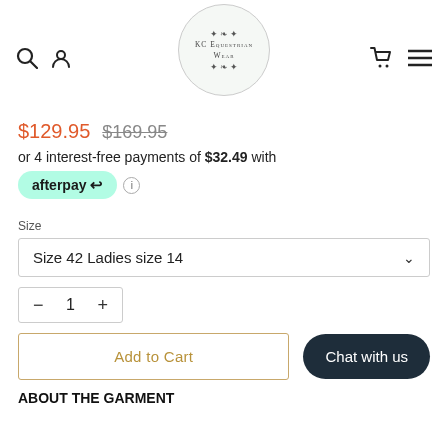KC Equestrian Wear — navigation header with search, account, cart, and menu icons
$129.95  $169.95
or 4 interest-free payments of $32.49 with afterpay
Size
Size 42 Ladies size 14
1
Add to Cart
Chat with us
ABOUT THE GARMENT